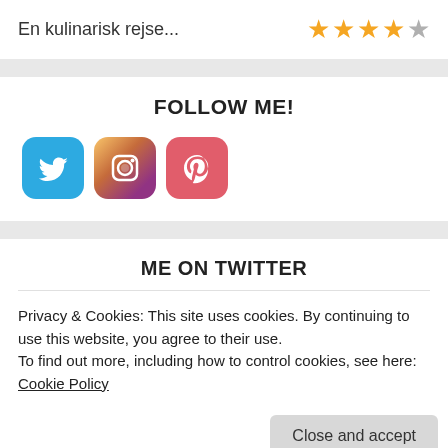En kulinarisk rejse...
[Figure (other): Star rating: 4 out of 5 stars (4 orange stars, 1 grey star)]
FOLLOW ME!
[Figure (other): Social media icons: Twitter (blue bird), Instagram (camera), Pinterest (P logo)]
ME ON TWITTER
Privacy & Cookies: This site uses cookies. By continuing to use this website, you agree to their use.
To find out more, including how to control cookies, see here: Cookie Policy
Close and accept
Tamora Pi... @Tamora... · Aug 15